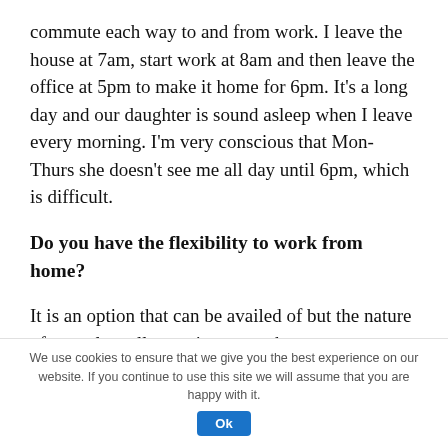commute each way to and from work. I leave the house at 7am, start work at 8am and then leave the office at 5pm to make it home for 6pm. It’s a long day and our daughter is sound asleep when I leave every morning. I’m very conscious that Mon-Thurs she doesn’t see me all day until 6pm, which is difficult.
Do you have the flexibility to work from home?
It is an option that can be availed of but the nature of my role really requires me to be
We use cookies to ensure that we give you the best experience on our website. If you continue to use this site we will assume that you are happy with it. Ok